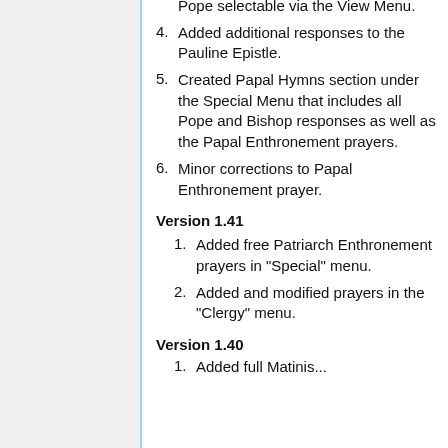Pope selectable via the View Menu.
4. Added additional responses to the Pauline Epistle.
5. Created Papal Hymns section under the Special Menu that includes all Pope and Bishop responses as well as the Papal Enthronement prayers.
6. Minor corrections to Papal Enthronement prayer.
Version 1.41
1. Added free Patriarch Enthronement prayers in "Special" menu.
2. Added and modified prayers in the "Clergy" menu.
Version 1.40
1. Added full Matins...